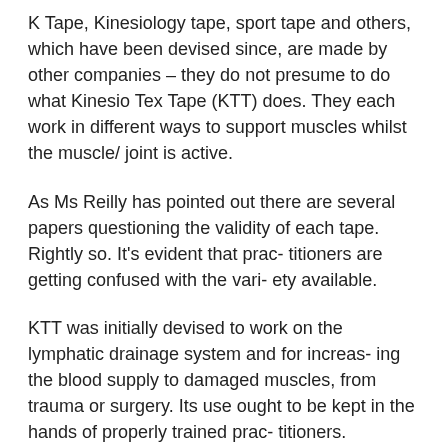K Tape, Kinesiology tape, sport tape and others, which have been devised since, are made by other companies – they do not presume to do what Kinesio Tex Tape (KTT) does. They each work in different ways to support muscles whilst the muscle/ joint is active.
As Ms Reilly has pointed out there are several papers questioning the validity of each tape. Rightly so. It's evident that prac- titioners are getting confused with the vari- ety available.
KTT was initially devised to work on the lymphatic drainage system and for increas- ing the blood supply to damaged muscles, from trauma or surgery. Its use ought to be kept in the hands of properly trained prac- titioners.
To state that any of these products are placebo in function is facile. Unless one has first-hand evidence that